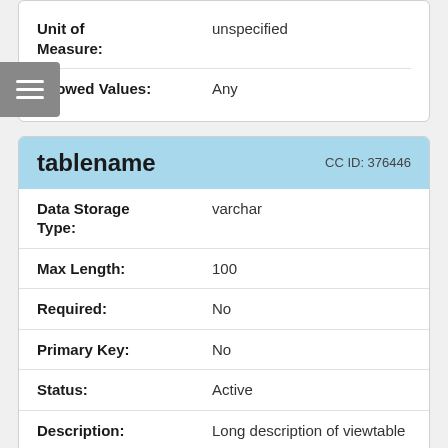| Field | Value |
| --- | --- |
| Unit of Measure: | unspecified |
| Allowed Values: | Any |
tablename  CC ID: 376446
| Field | Value |
| --- | --- |
| Data Storage Type: | varchar |
| Max Length: | 100 |
| Required: | No |
| Primary Key: | No |
| Status: | Active |
| Description: | Long description of viewtable |
| Unit of | unspecified |